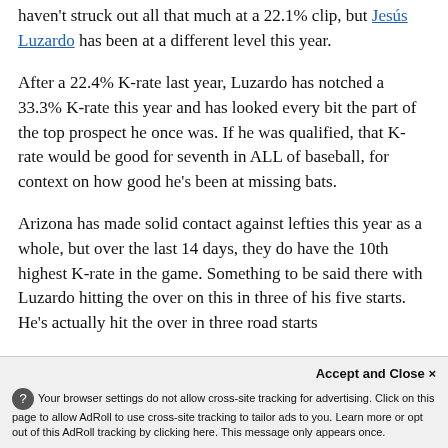haven't struck out all that much at a 22.1% clip, but Jesús Luzardo has been at a different level this year.
After a 22.4% K-rate last year, Luzardo has notched a 33.3% K-rate this year and has looked every bit the part of the top prospect he once was. If he was qualified, that K-rate would be good for seventh in ALL of baseball, for context on how good he's been at missing bats.
Arizona has made solid contact against lefties this year as a whole, but over the last 14 days, they do have the 10th highest K-rate in the game. Something to be said there with Luzardo hitting the over on this in three of his five starts. He's actually hit the over in three road starts
Accept and Close ×
Your browser settings do not allow cross-site tracking for advertising. Click on this page to allow AdRoll to use cross-site tracking to tailor ads to you. Learn more or opt out of this AdRoll tracking by clicking here. This message only appears once.